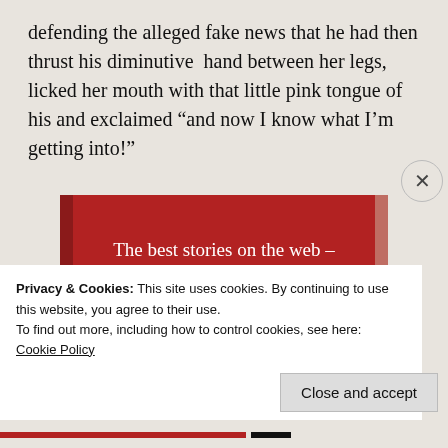defending the alleged fake news that he had then thrust his diminutive hand between her legs, licked her mouth with that little pink tongue of his and exclaimed “and now I know what I’m getting into!”
[Figure (infographic): Red advertisement banner with white serif text reading 'The best stories on the web – ours, and everyone else’s.' with a black 'Start reading' button]
Privacy & Cookies: This site uses cookies. By continuing to use this website, you agree to their use.
To find out more, including how to control cookies, see here:
Cookie Policy
Close and accept